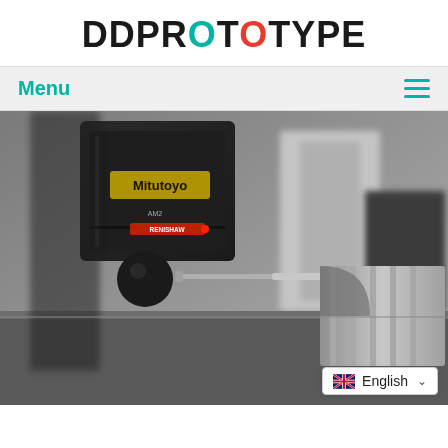DDPROTOTYPE
Menu
[Figure (photo): Close-up photo of a Mitutoyo coordinate measuring machine (CMM) with a Renishaw probe touching a precision machined metal part on a granite surface plate.]
English